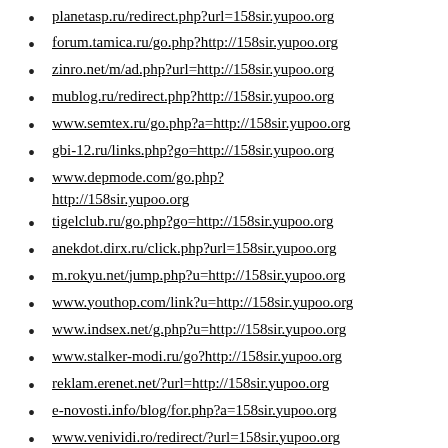planetasp.ru/redirect.php?url=158sir.yupoo.org
forum.tamica.ru/go.php?http://158sir.yupoo.org
zinro.net/m/ad.php?url=http://158sir.yupoo.org
mublog.ru/redirect.php?http://158sir.yupoo.org
www.semtex.ru/go.php?a=http://158sir.yupoo.org
gbi-12.ru/links.php?go=http://158sir.yupoo.org
www.depmode.com/go.php?http://158sir.yupoo.org
tigelclub.ru/go.php?go=http://158sir.yupoo.org
anekdot.dirx.ru/click.php?url=158sir.yupoo.org
m.rokyu.net/jump.php?u=http://158sir.yupoo.org
www.youthop.com/link?u=http://158sir.yupoo.org
www.indsex.net/g.php?u=http://158sir.yupoo.org
www.stalker-modi.ru/go?http://158sir.yupoo.org
reklam.erenet.net/?url=http://158sir.yupoo.org
e-novosti.info/blog/for.php?a=158sir.yupoo.org
www.venividi.ro/redirect/?url=158sir.yupoo.org
sipsap.com/out.php?url=http://158sir.yupoo.org
www.ro.by/suru.php?url=http://158sir.yupoo.org